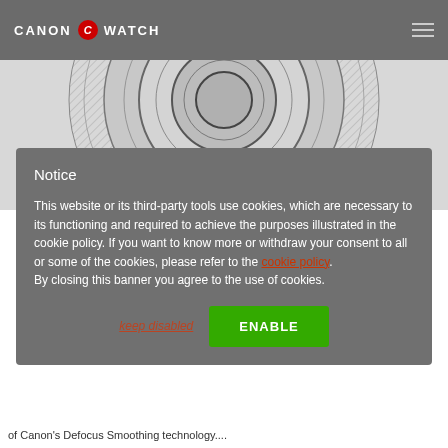CANON WATCH
[Figure (illustration): Circular lens diagram with hatched/shaded concentric rings on a grey background]
(a)
Notice

This website or its third-party tools use cookies, which are necessary to its functioning and required to achieve the purposes illustrated in the cookie policy. If you want to know more or withdraw your consent to all or some of the cookies, please refer to the cookie policy. By closing this banner you agree to the use of cookies.
keep disabled   ENABLE
of Canon's Defocus Smoothing technology....